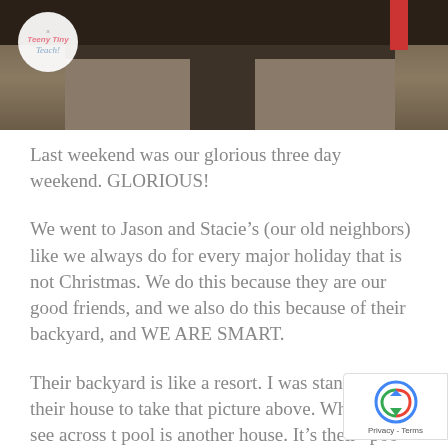[Figure (photo): Outdoor patio/backyard scene with stone path, water feature, dark overhead structure, and a circular blog logo overlay in top-left corner]
Last weekend was our glorious three day weekend.  GLORIOUS!
We went to Jason and Stacie's (our old neighbors) like we always do for every major holiday that is not Christmas.  We do this because they are our good friends, and we also do this because of their backyard, and WE ARE SMART.
Their backyard is like a resort.  I was standing by their house to take that picture above.  What you see across t pool is another house.  It's their "poo